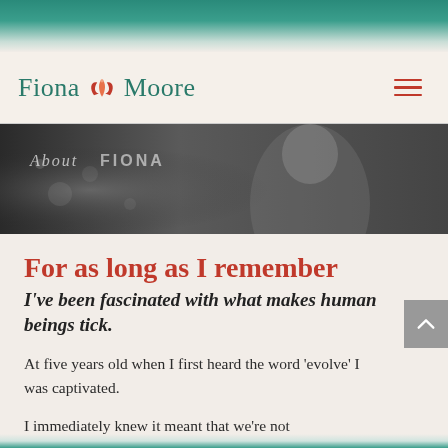Fiona Moore
[Figure (photo): Black and white photo of a woman smiling, with text overlay reading 'About FIONA' in script/italic font]
For as long as I remember
I've been fascinated with what makes human beings tick.
At five years old when I first heard the word 'evolve' I was captivated.
I immediately knew it meant that we're not